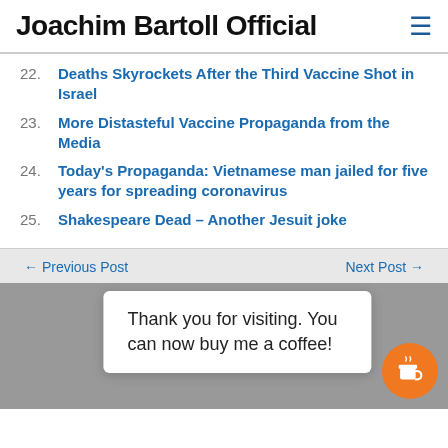Joachim Bartoll Official
22. Deaths Skyrockets After the Third Vaccine Shot in Israel
23. More Distasteful Vaccine Propaganda from the Media
24. Today's Propaganda: Vietnamese man jailed for five years for spreading coronavirus
25. Shakespeare Dead – Another Jesuit joke
← Previous Post    Next Post →
Thank you for visiting. You can now buy me a coffee!